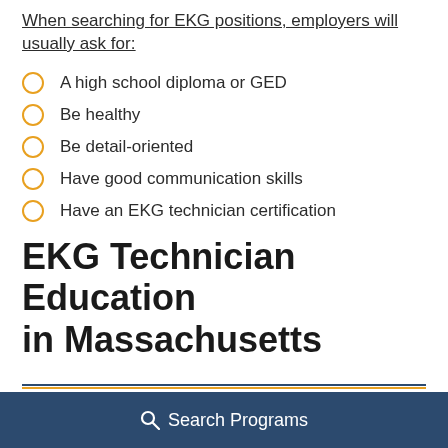When searching for EKG positions, employers will usually ask for:
A high school diploma or GED
Be healthy
Be detail-oriented
Have good communication skills
Have an EKG technician certification
EKG Technician Education in Massachusetts
Search Programs